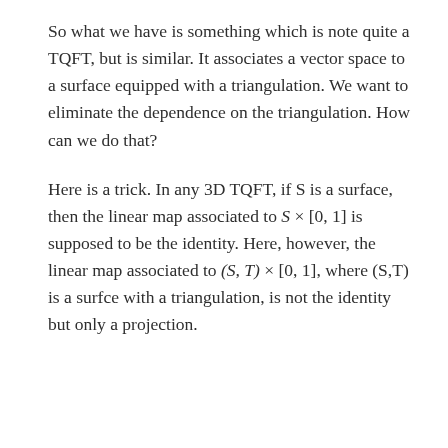So what we have is something which is note quite a TQFT, but is similar. It associates a vector space to a surface equipped with a triangulation. We want to eliminate the dependence on the triangulation. How can we do that?
Here is a trick. In any 3D TQFT, if S is a surface, then the linear map associated to S × [0, 1] is supposed to be the identity. Here, however, the linear map associated to (S, T) × [0, 1], where (S,T) is a surfce with a triangulation, is not the identity but only a projection.